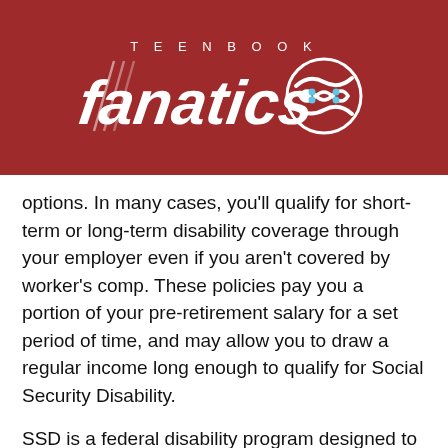[Figure (logo): Teenbook Fanatics logo on dark red background with stylized 'fanatics' text and circular emblem icon]
options. In many cases, you'll qualify for short-term or long-term disability coverage through your employer even if you aren't covered by worker's comp. These policies pay you a portion of your pre-retirement salary for a set period of time, and may allow you to draw a regular income long enough to qualify for Social Security Disability.
SSD is a federal disability program designed to provide you with a monthly income for the rest of your life (or until you're able to return to full-time work). Like Social Security retirement, the amount of SSD for which you'll qualify depends on your earnings history and average annual salary, but is generally enough to cover at least basic living